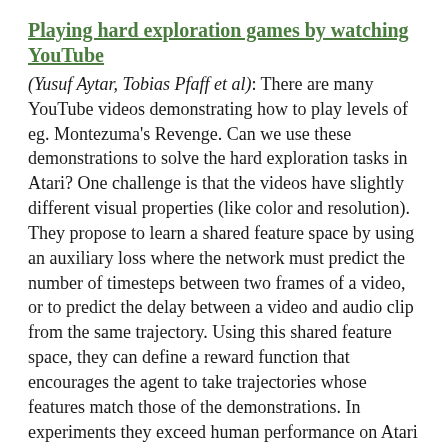Playing hard exploration games by watching YouTube
(Yusuf Aytar, Tobias Pfaff et al): There are many YouTube videos demonstrating how to play levels of eg. Montezuma's Revenge. Can we use these demonstrations to solve the hard exploration tasks in Atari? One challenge is that the videos have slightly different visual properties (like color and resolution). They propose to learn a shared feature space by using an auxiliary loss where the network must predict the number of timesteps between two frames of a video, or to predict the delay between a video and audio clip from the same trajectory. Using this shared feature space, they can define a reward function that encourages the agent to take trajectories whose features match those of the demonstrations. In experiments they exceed human performance on Atari games with hard exploration problems.